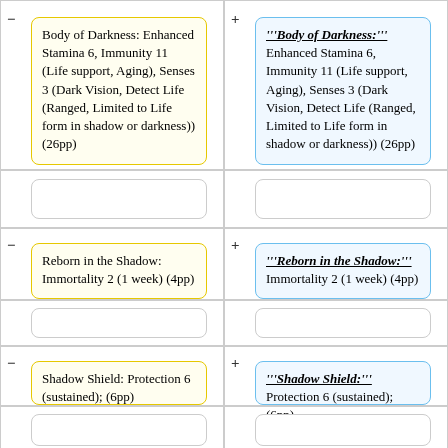Body of Darkness: Enhanced Stamina 6, Immunity 11 (Life support, Aging), Senses 3 (Dark Vision, Detect Life (Ranged, Limited to Life form in shadow or darkness)) (26pp)
'''Body of Darkness:''' Enhanced Stamina 6, Immunity 11 (Life support, Aging), Senses 3 (Dark Vision, Detect Life (Ranged, Limited to Life form in shadow or darkness)) (26pp)
Reborn in the Shadow: Immortality 2 (1 week) (4pp)
'''Reborn in the Shadow:''' Immortality 2 (1 week) (4pp)
Shadow Shield: Protection 6 (sustained); (6pp)
'''Shadow Shield:''' Protection 6 (sustained); (6pp)